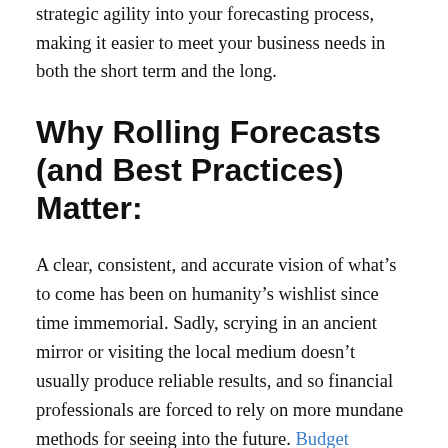strategic agility into your forecasting process, making it easier to meet your business needs in both the short term and the long.
Why Rolling Forecasts (and Best Practices) Matter:
A clear, consistent, and accurate vision of what’s to come has been on humanity’s wishlist since time immemorial. Sadly, scrying in an ancient mirror or visiting the local medium doesn’t usually produce reliable results, and so financial professionals are forced to rely on more mundane methods for seeing into the future. Budget forecasting is a tool relied upon by